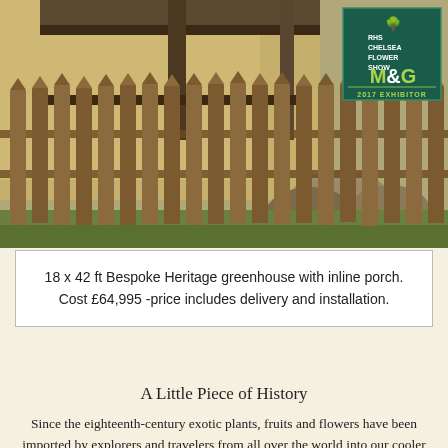[Figure (photo): Photograph of a bespoke heritage greenhouse with wooden picket fence in foreground, stone wall background, with RHS Chelsea Flower Show M&G 2017 Exhibitor badge overlay in top right corner]
18 x 42 ft Bespoke Heritage greenhouse with inline porch. Cost £64,995 -price includes delivery and installation.
A Little Piece of History
Since the eighteenth-century exotic plants, fruits and flowers have been imported by explorers and travelers from all over the world into our cooler northern hemisphere. The aspiration to cultivate such species dates back to the 1800's and a basic structure being designed to shelter and tender young plants. Due to the costly materials and manufacturing